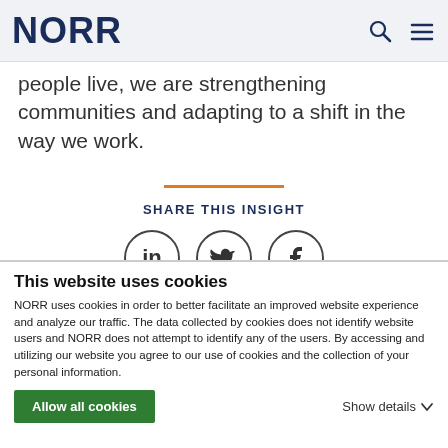NORR
people live, we are strengthening communities and adapting to a shift in the way we work.
[Figure (other): Orange horizontal divider line followed by SHARE THIS INSIGHT label and three social media icons: LinkedIn, Twitter, Facebook]
This website uses cookies
NORR uses cookies in order to better facilitate an improved website experience and analyze our traffic. The data collected by cookies does not identify website users and NORR does not attempt to identify any of the users. By accessing and utilizing our website you agree to our use of cookies and the collection of your personal information.
Allow all cookies
Show details